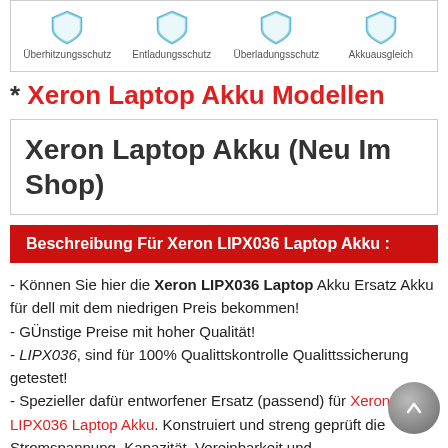[Figure (illustration): Four shield icons with labels: Überhitzungsschutz, Entladungsschutz, Überladungsschutz, Akkuausgleich]
* Xeron Laptop Akku Modellen
Xeron Laptop Akku (Neu Im Shop)
Beschreibung Für Xeron LIPX036 Laptop Akku :
- Können Sie hier die Xeron LIPX036 Laptop Akku Ersatz Akku für dell mit dem niedrigen Preis bekommen!
- GÜnstige Preise mit hoher Qualität!
- LIPX036, sind für 100% Qualittskontrolle Qualittssicherung getestet!
- Spezieller dafür entworfener Ersatz (passend) für Xeron LIPX036 Laptop Akku. Konstruiert und streng geprüft die Stromspannung, Kapazität, Vereinbarkeit und